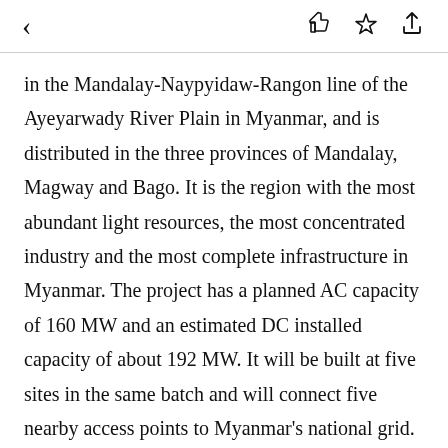< [thumbs up] [star] [share]
in the Mandalay-Naypyidaw-Rangon line of the Ayeyarwady River Plain in Myanmar, and is distributed in the three provinces of Mandalay, Magway and Bago. It is the region with the most abundant light resources, the most concentrated industry and the most complete infrastructure in Myanmar. The project has a planned AC capacity of 160 MW and an estimated DC installed capacity of about 192 MW. It will be built at five sites in the same batch and will connect five nearby access points to Myanmar's national grid.